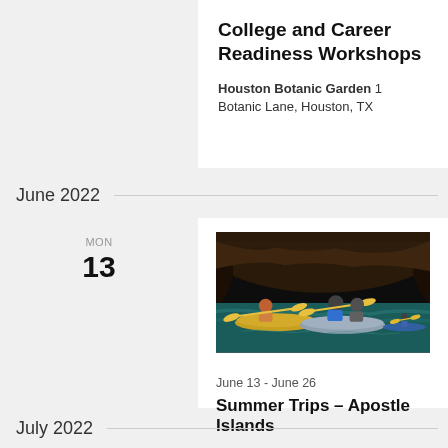College and Career Readiness Workshops
Houston Botanic Garden 1 Botanic Lane, Houston, TX
June 2022
MON 13
[Figure (photo): People kayaking through a dark cave on turquoise water, wearing life vests and helmets, with yellow paddles]
June 13 - June 26
Summer Trips – Apostle Islands
July 2022